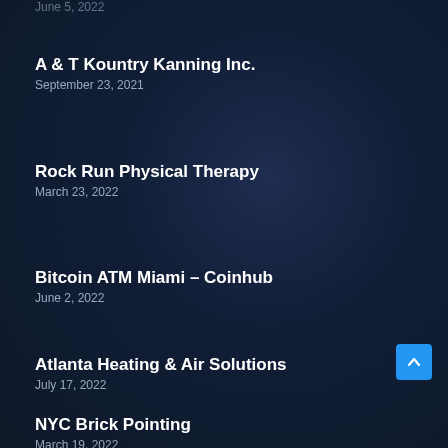June 5, 2022
A & T Kountry Kanning Inc.
September 23, 2021
Rock Run Physical Therapy
March 23, 2022
Bitcoin ATM Miami – Coinhub
June 2, 2022
Atlanta Heating & Air Solutions
July 17, 2022
NYC Brick Pointing
March 19, 2022